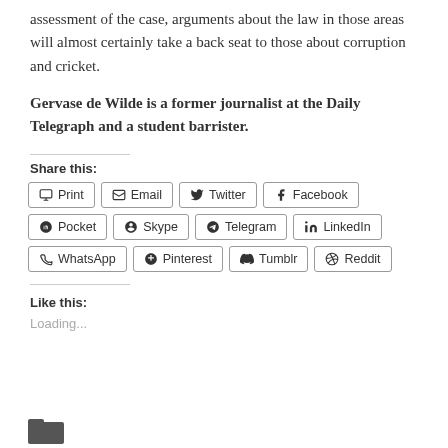assessment of the case, arguments about the law in those areas will almost certainly take a back seat to those about corruption and cricket.
Gervase de Wilde is a former journalist at the Daily Telegraph and a student barrister.
Share this:
Print  Email  Twitter  Facebook  Pocket  Skype  Telegram  LinkedIn  WhatsApp  Pinterest  Tumblr  Reddit
Like this:
Loading...